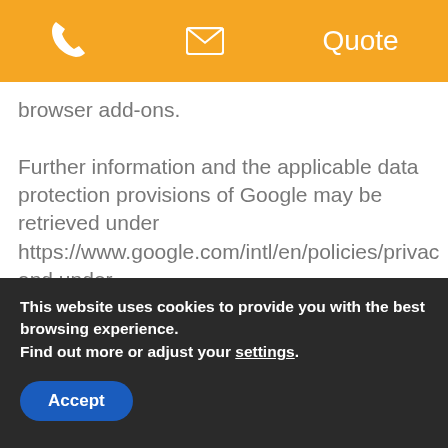📞  ✉  Quote
browser add-ons.

Further information and the applicable data protection provisions of Google may be retrieved under https://www.google.com/intl/en/policies/privacy and under http://www.google.com/analytics/terms/us.htm Google Analytics is further explained under the following Link https://www.google.com/analytics/.
This website uses cookies to provide you with the best browsing experience.
Find out more or adjust your settings.
Accept